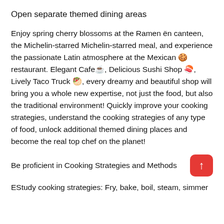Open separate themed dining areas
Enjoy spring cherry blossoms at the Ramen ën canteen, the Michelin-starred Michelin-starred meal, and experience the passionate Latin atmosphere at the Mexican 🍪 restaurant. Elegant Cafe☕, Delicious Sushi Shop 🍣, Lively Taco Truck 🥙, every dreamy and beautiful shop will bring you a whole new expertise, not just the food, but also the traditional environment! Quickly improve your cooking strategies, understand the cooking strategies of any type of food, unlock additional themed dining places and become the real top chef on the planet!
Be proficient in Cooking Strategies and Methods
EStudy cooking strategies: Fry, bake, boil, steam, simmer